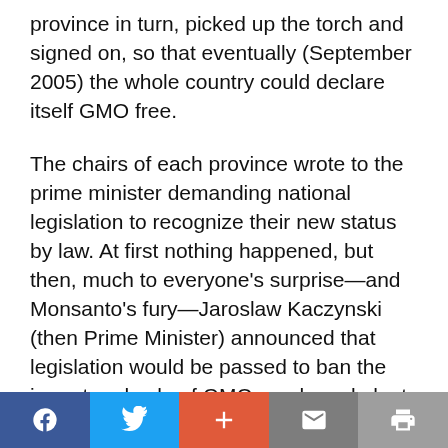province in turn, picked up the torch and signed on, so that eventually (September 2005) the whole country could declare itself GMO free.
The chairs of each province wrote to the prime minister demanding national legislation to recognize their new status by law. At first nothing happened, but then, much to everyone's surprise—and Monsanto's fury—Jaroslaw Kaczynski (then Prime Minister) announced that legislation would be passed to ban the import and sale of GMO seeds and plants in Poland. This was followed a little later by a similar announcement declaring
Facebook | Twitter | + | Mail | Print